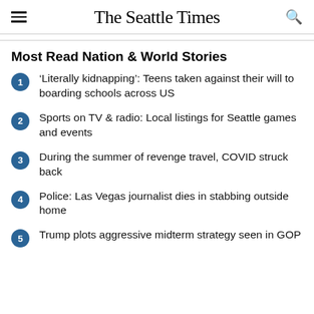The Seattle Times
Most Read Nation & World Stories
'Literally kidnapping': Teens taken against their will to boarding schools across US
Sports on TV & radio: Local listings for Seattle games and events
During the summer of revenge travel, COVID struck back
Police: Las Vegas journalist dies in stabbing outside home
Trump plots aggressive midterm strategy seen in GOP